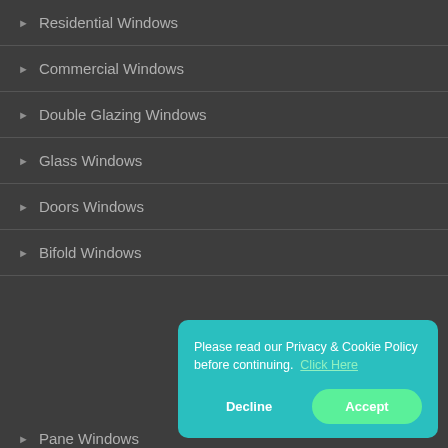Residential Windows
Commercial Windows
Double Glazing Windows
Glass Windows
Doors Windows
Bifold Windows
Pane Windows
Sill Windows
Please read our Privacy & Cookie Policy before continuing. Click Here
Decline
Accept